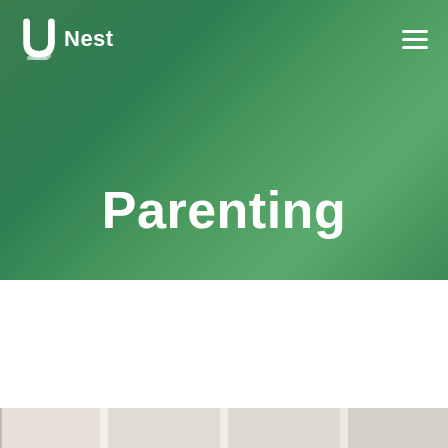UNest
Parenting
Being a parent is often not easy and everyone could use some help from time to time. Discover useful financial information about parenting today!
[Figure (photo): Strip of interior room photos at the bottom of the page]